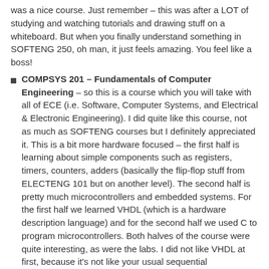was a nice course.  Just remember – this was after a LOT of studying and watching tutorials and drawing stuff on a whiteboard.  But when you finally understand something in SOFTENG 250, oh man, it just feels amazing.  You feel like a boss!
COMPSYS 201 – Fundamentals of Computer Engineering – so this is a course which you will take with all of ECE (i.e. Software, Computer Systems, and Electrical & Electronic Engineering). I did quite like this course, not as much as SOFTENG courses but I definitely appreciated it.  This is a bit more hardware focused – the first half is learning about simple components such as registers, timers, counters, adders (basically the flip-flop stuff from ELECTENG 101 but on another level).  The second half is pretty much microcontrollers and embedded systems.  For the first half we learned VHDL (which is a hardware description language) and for the second half we used C to program microcontrollers.  Both halves of the course were quite interesting, as were the labs.  I did not like VHDL at first, because it's not like your usual sequential